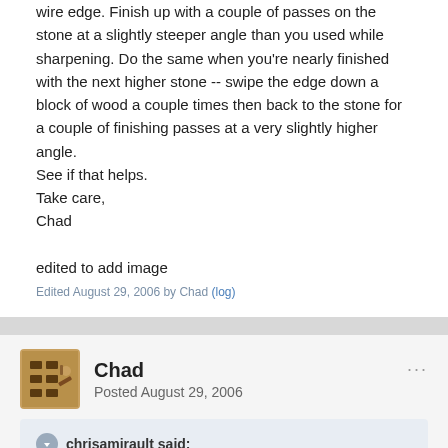wire edge. Finish up with a couple of passes on the stone at a slightly steeper angle than you used while sharpening. Do the same when you're nearly finished with the next higher stone -- swipe the edge down a block of wood a couple times then back to the stone for a couple of finishing passes at a very slightly higher angle.
See if that helps.
Take care,
Chad
edited to add image
Edited August 29, 2006 by Chad (log)
Chad
Posted August 29, 2006
chrisamirault said:
Up-topic I asked Chad about how to level my sharpening stones, and Chad responded in this post with the method